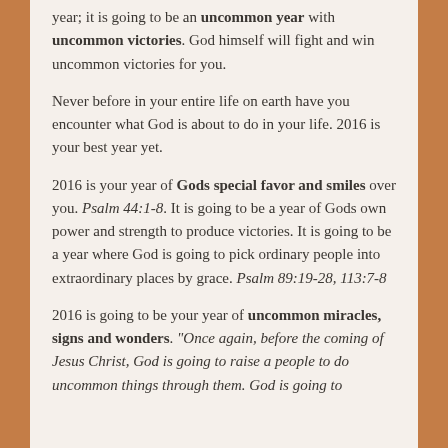year; it is going to be an uncommon year with uncommon victories. God himself will fight and win uncommon victories for you.
Never before in your entire life on earth have you encounter what God is about to do in your life. 2016 is your best year yet.
2016 is your year of Gods special favor and smiles over you. Psalm 44:1-8. It is going to be a year of Gods own power and strength to produce victories. It is going to be a year where God is going to pick ordinary people into extraordinary places by grace. Psalm 89:19-28, 113:7-8
2016 is going to be your year of uncommon miracles, signs and wonders. "Once again, before the coming of Jesus Christ, God is going to raise a people to do uncommon things through them. God is going to